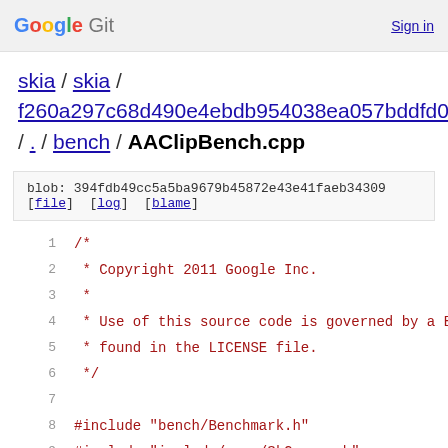Google Git   Sign in
skia / skia / f260a297c68d490e4ebdb954038ea057bddfd0b9 / . / bench / AAClipBench.cpp
blob: 394fdb49cc5a5ba9679b45872e43e41faeb34309
[file] [log] [blame]
1  /*
2   * Copyright 2011 Google Inc.
3   *
4   * Use of this source code is governed by a BSD-
5   * found in the LICENSE file.
6   */
7
8  #include "bench/Benchmark.h"
9  #include "include/core/SkCanvas.h"
10 #include "include/core/SkPath.h"